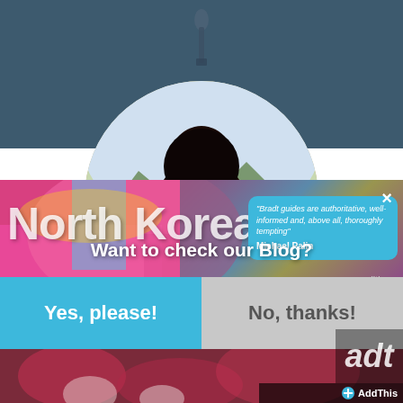[Figure (screenshot): Website screenshot showing a blog subscription popup overlay on top of a North Korea travel guidebook page. The background shows a dark blue-grey header with a circular book cover image. Below is a colorful popup with Korean performers. The popup contains the North Korea title text, a Bradt quote bubble from Michael Palin, and two buttons: 'Yes, please!' in blue and 'No, thanks!' in grey.]
North Korea
Want to check our Blog?
"Bradt guides are authoritative, well-informed and, above all, thoroughly tempting" Michael Palin
edition
Yes, please!
No, thanks!
adt
+ AddThis